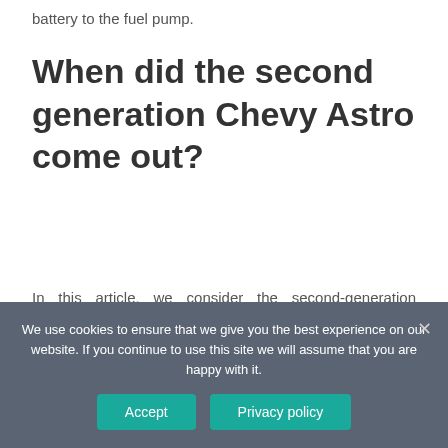battery to the fuel pump.
When did the second generation Chevy Astro come out?
In this article, we consider the second-generation Chevrolet Astro, produced from 1995 to 2005.
Where is gas pump located?
We use cookies to ensure that we give you the best experience on our website. If you continue to use this site we will assume that you are happy with it.